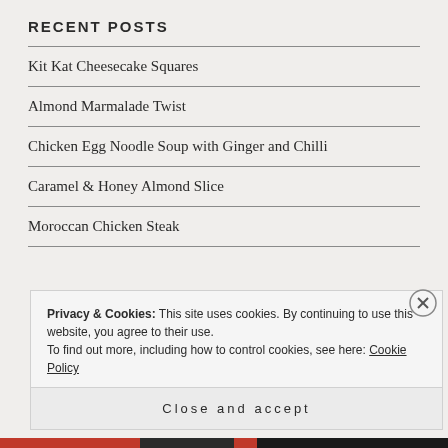RECENT POSTS
Kit Kat Cheesecake Squares
Almond Marmalade Twist
Chicken Egg Noodle Soup with Ginger and Chilli
Caramel & Honey Almond Slice
Moroccan Chicken Steak
Privacy & Cookies: This site uses cookies. By continuing to use this website, you agree to their use.
To find out more, including how to control cookies, see here: Cookie Policy
Close and accept